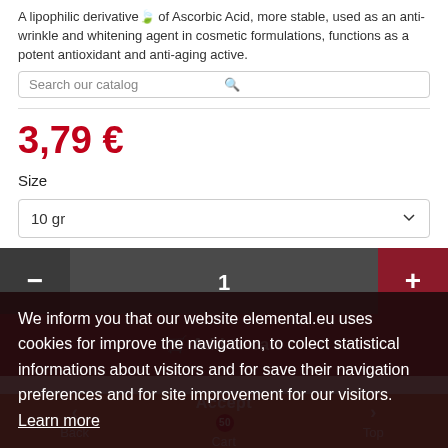A lipophilic derivative of Ascorbic Acid, more stable, used as an anti-wrinkle and whitening agent in cosmetic formulations, functions as a potent antioxidant and anti-aging active.
3,79 €
Size
10 gr
1
We inform you that our website elemental.eu uses cookies for improve the navigation, to colect statistical informations about visitors and for save their navigation preferences and for site improvement for our visitors.
Learn more
Add to wishlist
Product Details
Back | Accept | Cart | Top